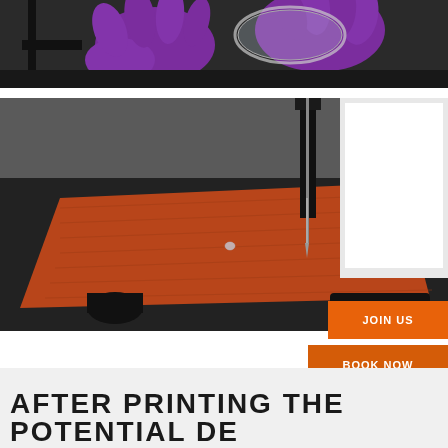[Figure (photo): Close-up photo of gloved hands (purple nitrile gloves) working with laboratory equipment, likely a microscope or instrument, on a dark surface.]
[Figure (photo): Laboratory testing machine with a needle probe pressing onto an orange/brown textured leather or fabric material on a black platform. A bright light source is visible in the background.]
JOIN US
BOOK NOW